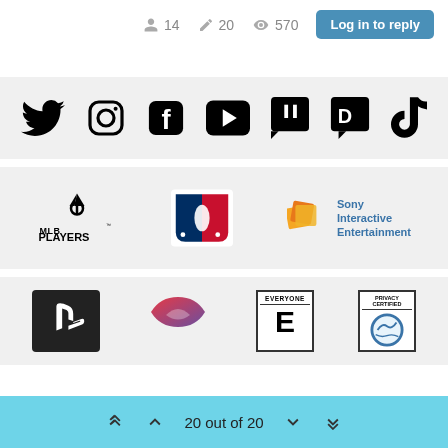14 users · 20 posts · 570 views · Log in to reply
[Figure (logo): Social media icons row: Twitter, Instagram, Facebook, YouTube, Twitch, Discord, TikTok]
[Figure (logo): Sponsor logos: MLBPA Players, MLB, Sony Interactive Entertainment]
[Figure (logo): Bottom logos: PlayStation, unknown brand, ESRB Everyone, Privacy Certified]
20 out of 20